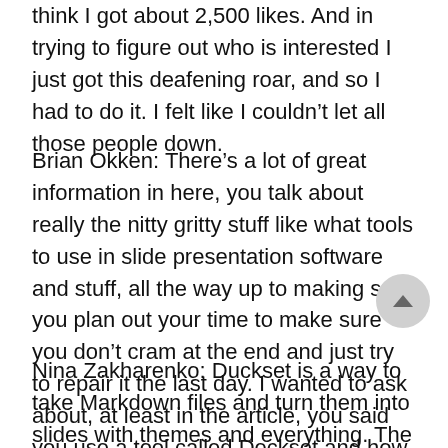think I got about 2,500 likes. And in trying to figure out who is interested I just got this deafening roar, and so I had to do it. I felt like I couldn't let all those people down.
Brian Okken: There's a lot of great information in here, you talk about really the nitty gritty stuff like what tools to use in slide presentation software and stuff, all the way up to making sure you plan out your time to make sure you don't cram at the end and just try to repair it the last day. I wanted to ask about, at least in the article, you said you use a tool called Deckset and how does that relate to markdown?
Nina Zakharenko: Duckset is a way to take Markdown files and turn them into slides with themes and everything. The reason I prefer it is